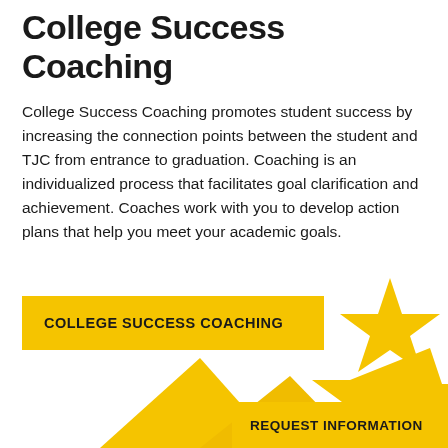College Success Coaching
College Success Coaching promotes student success by increasing the connection points between the student and TJC from entrance to graduation. Coaching is an individualized process that facilitates goal clarification and achievement. Coaches work with you to develop action plans that help you meet your academic goals.
COLLEGE SUCCESS COACHING
[Figure (illustration): Decorative golden stars and triangular chevron shapes in the bottom portion of the page]
REQUEST INFORMATION